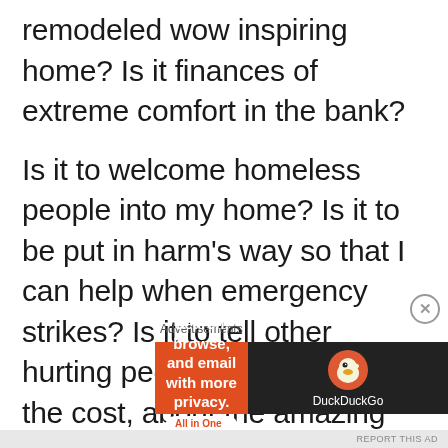remodeled wow inspiring home?  Is it finances of extreme comfort in the bank?
Is it to welcome homeless people into my home?  Is it to be put in harm's way so that I can help when emergency strikes?  Is it to tell other hurting people, no matter what the cost, about the amazing
Advertisements
[Figure (other): DuckDuckGo advertisement banner: orange left panel with text 'Search, browse, and email with more privacy. All in One Free App' and dark right panel with DuckDuckGo duck logo and brand name.]